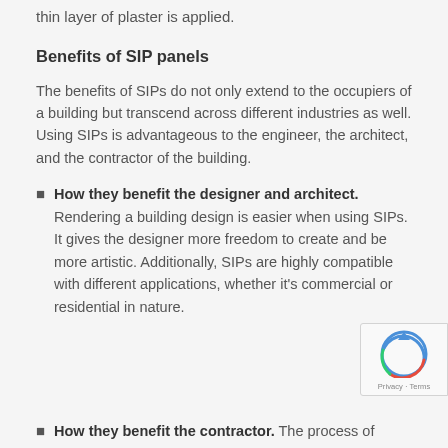thin layer of plaster is applied.
Benefits of SIP panels
The benefits of SIPs do not only extend to the occupiers of a building but transcend across different industries as well. Using SIPs is advantageous to the engineer, the architect, and the contractor of the building.
How they benefit the designer and architect. Rendering a building design is easier when using SIPs. It gives the designer more freedom to create and be more artistic. Additionally, SIPs are highly compatible with different applications, whether it's commercial or residential in nature.
How they benefit the contractor. The process of